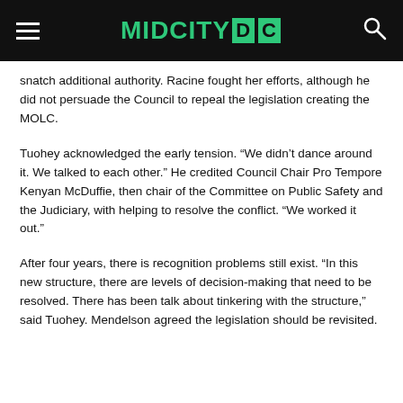MIDCITY DC
snatch additional authority. Racine fought her efforts, although he did not persuade the Council to repeal the legislation creating the MOLC.
Tuohey acknowledged the early tension. “We didn’t dance around it. We talked to each other.” He credited Council Chair Pro Tempore Kenyan McDuffie, then chair of the Committee on Public Safety and the Judiciary, with helping to resolve the conflict. “We worked it out.”
After four years, there is recognition problems still exist. “In this new structure, there are levels of decision-making that need to be resolved. There has been talk about tinkering with the structure,” said Tuohey. Mendelson agreed the legislation should be revisited.